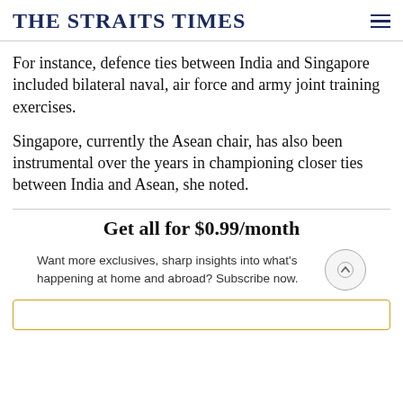THE STRAITS TIMES
For instance, defence ties between India and Singapore included bilateral naval, air force and army joint training exercises.
Singapore, currently the Asean chair, has also been instrumental over the years in championing closer ties between India and Asean, she noted.
Get all for $0.99/month
Want more exclusives, sharp insights into what's happening at home and abroad? Subscribe now.